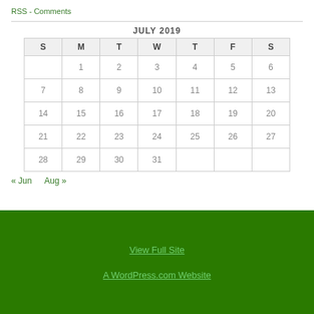RSS - Comments
| S | M | T | W | T | F | S |
| --- | --- | --- | --- | --- | --- | --- |
|  | 1 | 2 | 3 | 4 | 5 | 6 |
| 7 | 8 | 9 | 10 | 11 | 12 | 13 |
| 14 | 15 | 16 | 17 | 18 | 19 | 20 |
| 21 | 22 | 23 | 24 | 25 | 26 | 27 |
| 28 | 29 | 30 | 31 |  |  |  |
« Jun    Aug »
View Full Site
A WordPress.com Website